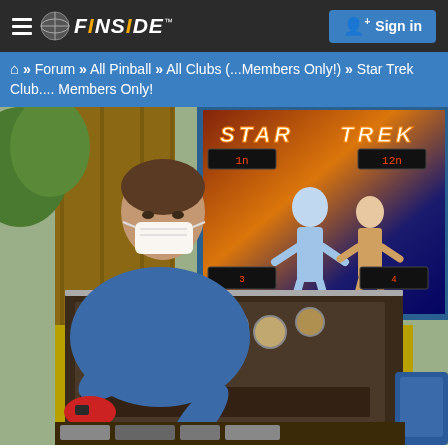FINSiDE™ — Sign in
🏠 » Forum » All Pinball » All Clubs (...Members Only!) » Star Trek Club.... Members Only!
[Figure (photo): A person wearing a blue t-shirt, face mask and red gloves bending over and working on a disassembled Star Trek themed pinball machine cabinet outdoors. The machine's playfield is exposed showing dirty components. In the background is the Star Trek backglass artwork with colorful sci-fi characters. The cabinet shows yellow and red striping and appears heavily worn.]